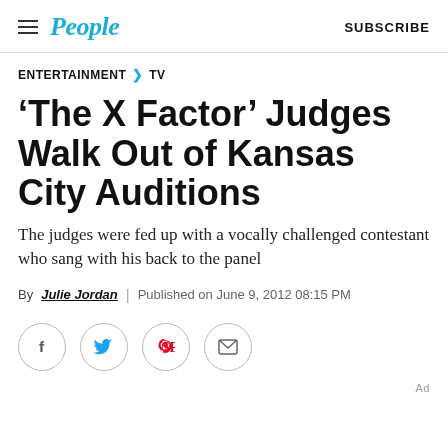People | SUBSCRIBE
ENTERTAINMENT > TV
'The X Factor' Judges Walk Out of Kansas City Auditions
The judges were fed up with a vocally challenged contestant who sang with his back to the panel
By Julie Jordan | Published on June 9, 2012 08:15 PM
[Figure (other): Social sharing buttons: Facebook, Twitter, Pinterest, Email]